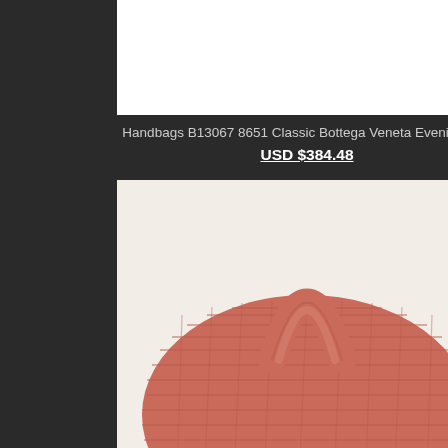[Figure (photo): Product image placeholder for Handbags B13067 8651 Classic Bottega Veneta Evening Bag - partial white box visible at top]
Handbags B13067 8651 Classic Bottega Veneta Evening Bag
USD $384.48
[Figure (photo): Replica Bottega Veneta Lambskin Large hobo bag in coral/salmon pink color with woven leather texture]
Replica Bottega Veneta Handbags Lambskin Large(L)
USD $395.28
very happy custo…
Written By Antoi…
★★★★★ 5.
Replica Bottega…
Great quality! Ve…
Written By Lumi…
★★★★★ 5.
Black Women L…
Let me start by s… waited about 2 v… literally just ripp… with that.
Written By Brett…